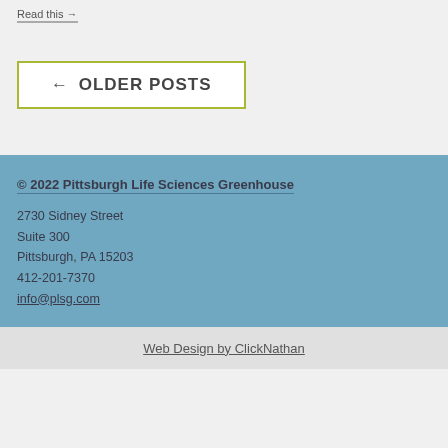Read this →
← OLDER POSTS
© 2022 Pittsburgh Life Sciences Greenhouse
2730 Sidney Street
Suite 300
Pittsburgh, PA 15203
412-201-7370
info@plsg.com
Web Design by ClickNathan